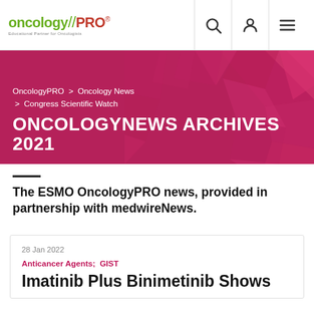oncology//PRO® — Educational Partner for Oncologists
ONCOLOGYNEWS ARCHIVES 2021
OncologyPRO > Oncology News > Congress Scientific Watch
The ESMO OncologyPRO news, provided in partnership with medwireNews.
28 Jan 2022
Anticancer Agents;  GIST
Imatinib Plus Binimetinib Shows